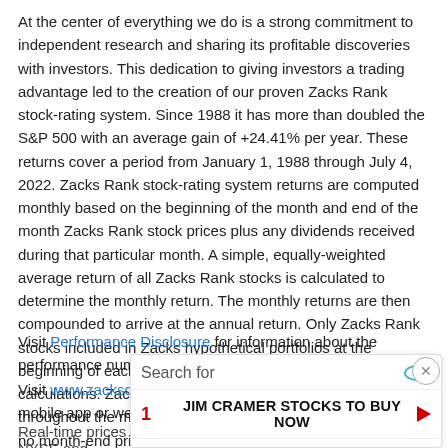At the center of everything we do is a strong commitment to independent research and sharing its profitable discoveries with investors. This dedication to giving investors a trading advantage led to the creation of our proven Zacks Rank stock-rating system. Since 1988 it has more than doubled the S&P 500 with an average gain of +24.41% per year. These returns cover a period from January 1, 1988 through July 4, 2022. Zacks Rank stock-rating system returns are computed monthly based on the beginning of the month and end of the month Zacks Rank stock prices plus any dividends received during that particular month. A simple, equally-weighted average return of all Zacks Rank stocks is calculated to determine the monthly return. The monthly returns are then compounded to arrive at the annual return. Only Zacks Rank stocks included in Zacks hypothetical portfolios at the beginning of each month are included in the return calculations. Zacks Ranks stocks can, and often do, change throughout the month. Certain Zacks Rank stocks for which no month-end price was available, pricing information was not collected, or for certain other reasons have been excluded from these return calculations.
Visit Performance Disclosure for information about the performance numbers displayed above.
Visit www.zacksdata.com to get our data and content for your mobile app or website.
[Figure (infographic): Advertisement overlay with search bar and two ad rows: 1. JIM CRAMER STOCKS TO BUY NOW, 2. NO.1 DIVIDEND STOCK TO BUY NOW, plus Ad badge and Local label at bottom.]